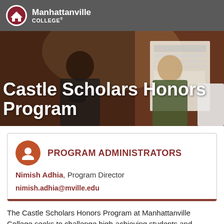Manhattanville COLLEGE
Castle Scholars Honors Program
[Figure (photo): Two female students presenting at an academic poster session. A research poster titled 'Women in the U.S. Military' with sections on Background Information is visible in the background.]
PROGRAM ADMINISTRATORS
Nimish Adhia, Program Director
nimish.adhia@mville.edu
The Castle Scholars Honors Program at Manhattanville College seeks to challenge high-achieving students and